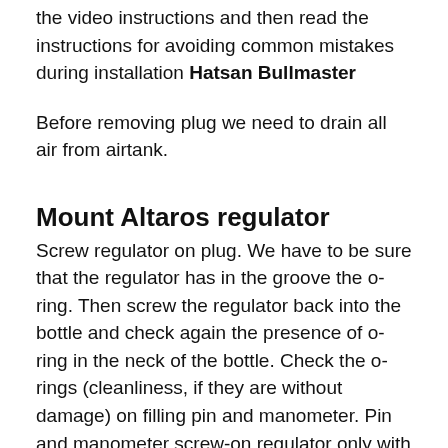the video instructions and then read the instructions for avoiding common mistakes during installation Hatsan Bullmaster
Before removing plug we need to drain all air from airtank.
Mount Altaros regulator
Screw regulator on plug. We have to be sure that the regulator has in the groove the o-ring. Then screw the regulator back into the bottle and check again the presence of o-ring in the neck of the bottle. Check the o-rings (cleanliness, if they are without damage) on filling pin and manometer. Pin and manometer screw-on regulator only with fingers, screw them so much that the upper larger cylinder of manometer and pin are touching regulator perimeter. Slot for pin and manometer can be